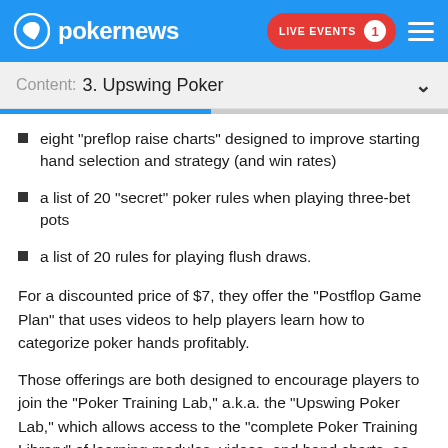pokernews | LIVE EVENTS 1
Content: 3. Upswing Poker
eight "preflop raise charts" designed to improve starting hand selection and strategy (and win rates)
a list of 20 "secret" poker rules when playing three-bet pots
a list of 20 rules for playing flush draws.
For a discounted price of $7, they offer the "Postflop Game Plan" that uses videos to help players learn how to categorize poker hands profitably.
Those offerings are both designed to encourage players to join the "Poker Training Lab," a.k.a. the "Upswing Poker Lab," which allows access to the "complete Poker Training Library" of learning modules, videos, and hand charts, as well as access to the site's Facebook group.